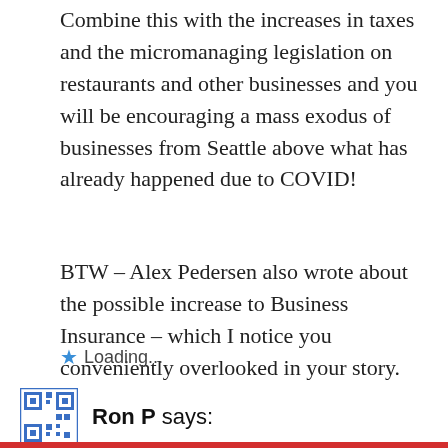Combine this with the increases in taxes and the micromanaging legislation on restaurants and other businesses and you will be encouraging a mass exodus of businesses from Seattle above what has already happened due to COVID!
BTW – Alex Pedersen also wrote about the possible increase to Business Insurance – which I notice you conveniently overlooked in your story.
Loading...
Ron P says: